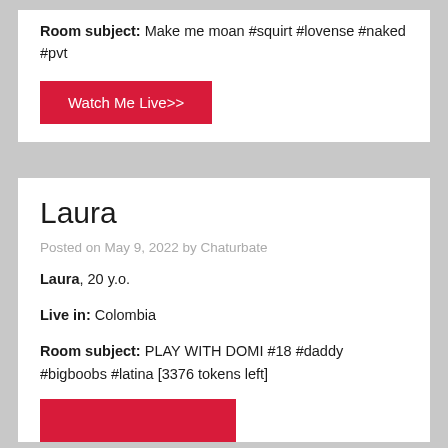Room subject: Make me moan #squirt #lovense #naked #pvt
Watch Me Live>>
Laura
Posted on May 9, 2022 by Chaturbate
Laura, 20 y.o.
Live in: Colombia
Room subject: PLAY WITH DOMI #18 #daddy #bigboobs #latina [3376 tokens left]
Watch Me Live>>